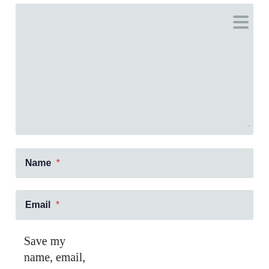[Figure (screenshot): Large light gray textarea input box with a hamburger menu icon in the top-right corner and a resize handle in the bottom-right corner]
Name *
Email *
Save my name, email, and website